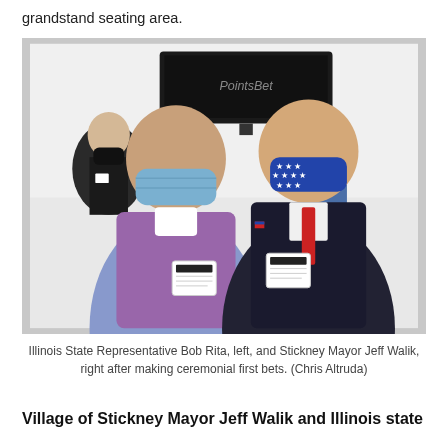grandstand seating area.
[Figure (photo): Two men wearing face masks holding betting slips, with two other people visible in the background in what appears to be an indoor sportsbook setting. The man on the left wears a light purple sweater and a blue medical mask. The man on the right wears a dark suit with a red tie and an American flag-patterned mask.]
Illinois State Representative Bob Rita, left, and Stickney Mayor Jeff Walik, right after making ceremonial first bets. (Chris Altruda)
Village of Stickney Mayor Jeff Walik and Illinois state